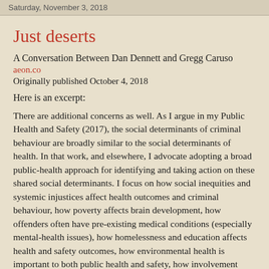Saturday, November 3, 2018
Just deserts
A Conversation Between Dan Dennett and Gregg Caruso
aeon.co
Originally published October 4, 2018
Here is an excerpt:
There are additional concerns as well. As I argue in my Public Health and Safety (2017), the social determinants of criminal behaviour are broadly similar to the social determinants of health. In that work, and elsewhere, I advocate adopting a broad public-health approach for identifying and taking action on these shared social determinants. I focus on how social inequities and systemic injustices affect health outcomes and criminal behaviour, how poverty affects brain development, how offenders often have pre-existing medical conditions (especially mental-health issues), how homelessness and education affects health and safety outcomes, how environmental health is important to both public health and safety, how involvement